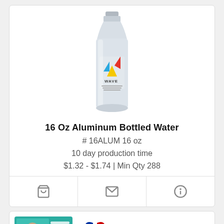[Figure (photo): Silver aluminum water bottle with WAVE branding and colorful triangle logo (blue, yellow, red triangles)]
16 Oz Aluminum Bottled Water
# 16ALUM 16 oz
10 day production time
$1.32 - $1.74 | Min Qty 288
[Figure (photo): Product card showing a graduation photo card and a red-white-blue ribbon award]